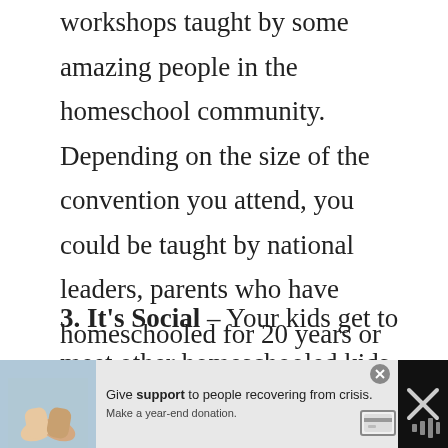workshops taught by some amazing people in the homeschool community. Depending on the size of the convention you attend, you could be taught by national leaders, parents who have homeschooled for 20 years or more, and experts in their field. Be sure to bring a notebook and pen so you can write down and remember some of this valuable advice. It's such a blessing to be able to learn from people who have gone before us.
3. It's Social – Your kids get to meet other homeschooled kids. Many homeschool conventions h... m...
[Figure (photo): Advertisement banner at bottom of page. Shows a photo of two people holding hands on the left, and an ad that reads: Give support to people recovering from crisis. Make a year-end donation. With a credit card icon on the right.]